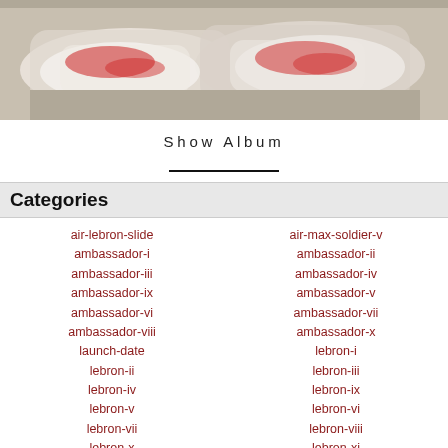[Figure (photo): Photo of sneakers/shoes with red and white design on a light background]
Show Album
Categories
air-lebron-slide
air-max-soldier-v
ambassador-i
ambassador-ii
ambassador-iii
ambassador-iv
ambassador-ix
ambassador-v
ambassador-vi
ambassador-vii
ambassador-viii
ambassador-x
launch-date
lebron-i
lebron-ii
lebron-iii
lebron-iv
lebron-ix
lebron-v
lebron-vi
lebron-vii
lebron-viii
lebron-x
lebron-xi
lebron-xii
lebron-xiii
lebron-xiv
lebron-xv
lebron-xvi
photography
st-low
st-low-ii